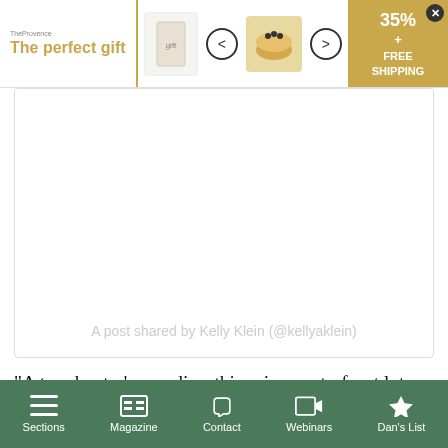[Figure (screenshot): Advertisement banner for a gift product showing 'The perfect gift' text in gold, navigation arrows, a bowl product image, and '35% FREE SHIPPING' offer badge]
[Figure (screenshot): Instagram embed placeholder with caption: A post shared by Kelly Klein (@kellyaklein)]
A post shared by Kelly Klein (@kellyaklein)
“A true boater’s paradise, this prime waterfront lot offers an unrivaled Hamptons lifestyle,” the listing said. “Wake up to infinite vistas of open sky and shimmering water with nothing but untouched Mashomack Preserve in the distance. Step out onto the dock and enjoy everything that the North and South Forks have to offer, with the Shelter Island Sound as your playground.”
Sections | Magazine | Contact | Webinars | Dan's List